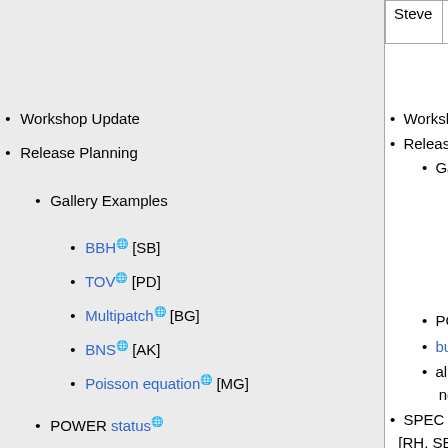| Steve | William G. | (spontaneous) |
| --- | --- | --- |
Workshop Update
Release Planning
Gallery Examples
BBH [SB]
TOV [PD]
Multipatch [BG]
BNS [AK]
Poisson equation [MG]
POWER status
bugs of severity major or worse
all open tickets flagged for the next release
SPEC benchmark contribution task [RH, SB]
unanswered question on mailing list / open tickets sorted by update time /